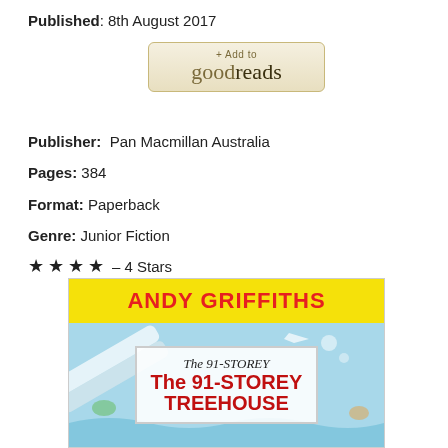Published: 8th August 2017
[Figure (logo): + Add to goodreads button]
Publisher:  Pan Macmillan Australia
Pages: 384
Format: Paperback
Genre: Junior Fiction
★ ★ ★ ★ – 4 Stars
[Figure (illustration): Book cover of The 91-Storey Treehouse by Andy Griffiths, published by Pan Macmillan Australia. Yellow header with author name in red, illustrated blue background with title on white banner.]